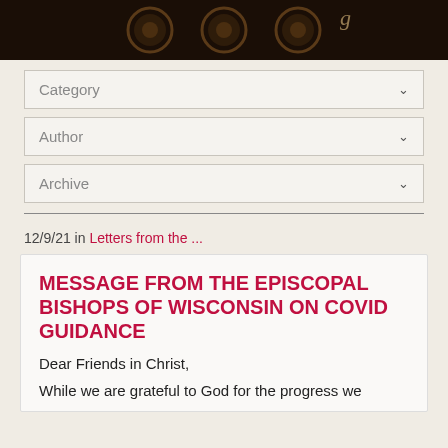[Figure (photo): Dark ornamental header image with decorative pattern on black/dark brown background, with a script/cursive text element partially visible]
Category
Author
Archive
12/9/21 in Letters from the ...
MESSAGE FROM THE EPISCOPAL BISHOPS OF WISCONSIN ON COVID GUIDANCE
Dear Friends in Christ,
While we are grateful to God for the progress we